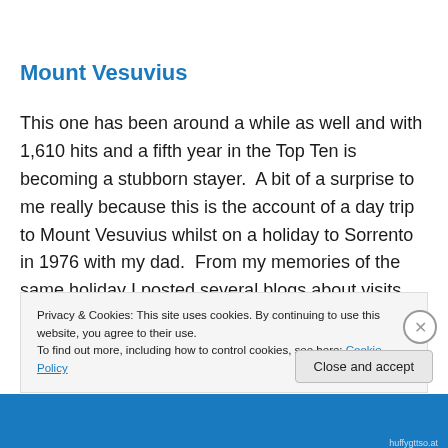Mount Vesuvius
This one has been around a while as well and with 1,610 hits and a fifth year in the Top Ten is becoming a stubborn stayer.  A bit of a surprise to me really because this is the account of a day trip to Mount Vesuvius whilst on a holiday to Sorrento in 1976 with my dad.  From my memories of the same holiday I posted several blogs about visits
Privacy & Cookies: This site uses cookies. By continuing to use this website, you agree to their use.
To find out more, including how to control cookies, see here: Cookie Policy
Close and accept